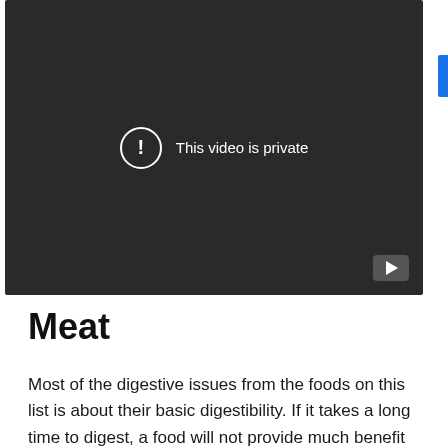[Figure (screenshot): A dark video player showing a 'This video is private' message with a warning icon circle, and a YouTube play button in the bottom right corner. A blue bar is visible on the right edge.]
Meat
Most of the digestive issues from the foods on this list is about their basic digestibility. If it takes a long time to digest, a food will not provide much benefit during a ride;